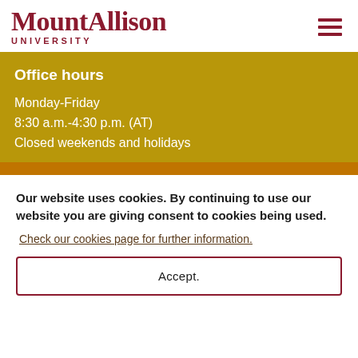MountAllison UNIVERSITY
Office hours
Monday-Friday
8:30 a.m.-4:30 p.m. (AT)
Closed weekends and holidays
Our website uses cookies. By continuing to use our website you are giving consent to cookies being used.
Check our cookies page for further information.
Accept.